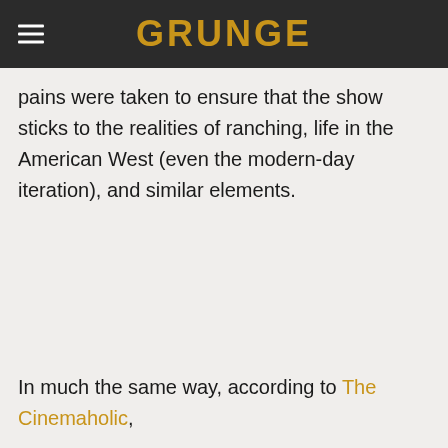GRUNGE
pains were taken to ensure that the show sticks to the realities of ranching, life in the American West (even the modern-day iteration), and similar elements.
In much the same way, according to The Cinemaholic,